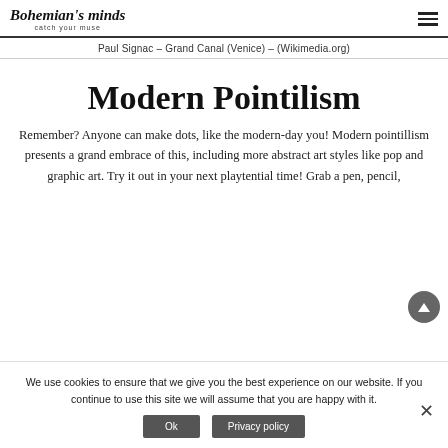Bohemian's minds catch your muse
Paul Signac – Grand Canal (Venice) – (Wikimedia.org)
Modern Pointilism
Remember? Anyone can make dots, like the modern-day you! Modern pointillism presents a grand embrace of this, including more abstract art styles like pop and graphic art. Try it out in your next playtential time! Grab a pen, pencil, between. Dot work. The purpose too. Permitting us to simplify our mind!
We use cookies to ensure that we give you the best experience on our website. If you continue to use this site we will assume that you are happy with it.